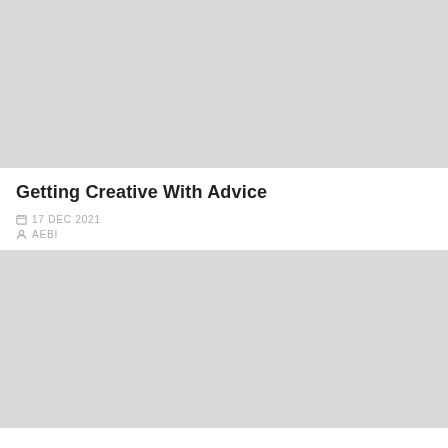[Figure (photo): Gray placeholder image at top of page]
Getting Creative With Advice
17 DEC 2021
AEBI
[Figure (photo): Gray placeholder image at bottom of page]